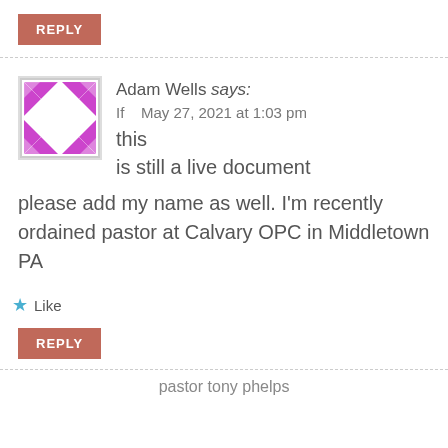REPLY (button)
[Figure (illustration): Purple geometric quilt-pattern avatar icon with white square center on white background with gray border]
Adam Wells says:
If   May 27, 2021 at 1:03 pm
If   this is still a live document please add my name as well. I'm recently ordained pastor at Calvary OPC in Middletown PA
★ Like
REPLY (button)
pastor tony phelps